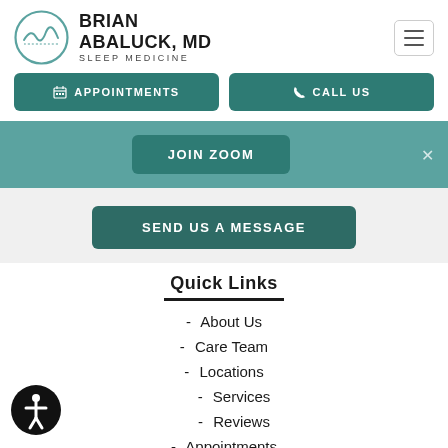[Figure (logo): Brian Abaluck MD Sleep Medicine logo with circular emblem and text]
APPOINTMENTS
CALL US
JOIN ZOOM
SEND US A MESSAGE
Quick Links
About Us
Care Team
Locations
Services
Reviews
Appointments
[Figure (illustration): Accessibility icon — person in circle, black and white]